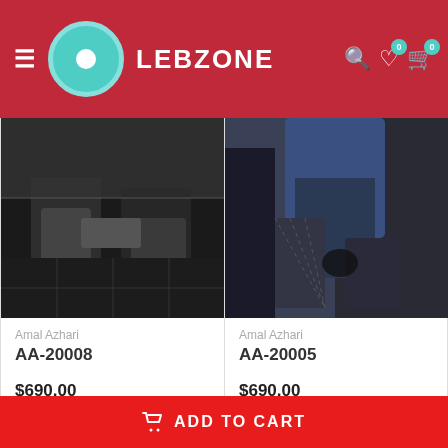LEBZONE
[Figure (photo): Fashion photo showing lower body with fishnet stockings and dark boots, person seated near a car]
Amal Azhari
AA-20008
$690.00
[Figure (photo): Fashion photo showing lower body with fishnet stockings and dark denim, person crouching]
Amal Azhari
AA-20005
$690.00
Our Recommended...
[Figure (photo): Gold ring product photo on light cream background]
[Figure (photo): Silver/grey ring product photo on light cream background]
ADD TO CART